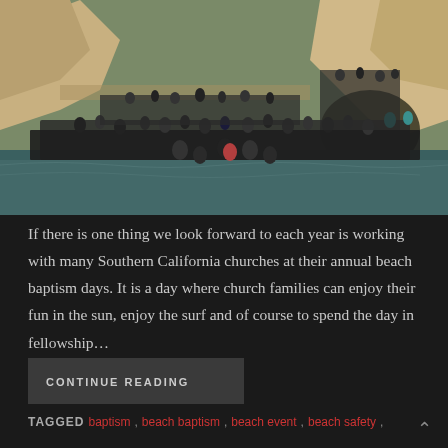[Figure (photo): A large crowd of people gathered at a rocky beach cove for a beach baptism event. The crowd stands in and around the water, with rocky cliffs in the background. People are densely packed along the shoreline.]
If there is one thing we look forward to each year is working with many Southern California churches at their annual beach baptism days. It is a day where church families can enjoy their fun in the sun, enjoy the surf and of course to spend the day in fellowship…
CONTINUE READING
TAGGED  baptism, beach baptism, beach event, beach safety,